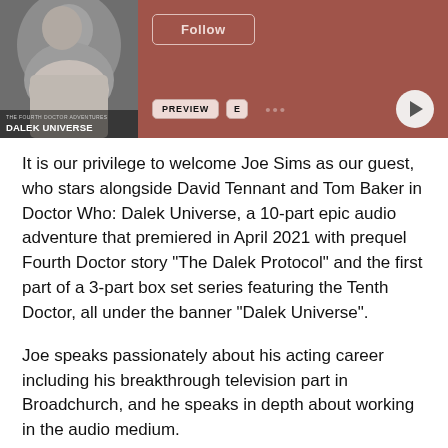[Figure (screenshot): Podcast player banner with album art showing 'Dalek Universe', a Follow button, PREVIEW and E badges, dots menu, and play button, all on a reddish-brown background.]
It is our privilege to welcome Joe Sims as our guest, who stars alongside David Tennant and Tom Baker in Doctor Who: Dalek Universe, a 10-part epic audio adventure that premiered in April 2021 with prequel Fourth Doctor story "The Dalek Protocol" and the first part of a 3-part box set series featuring the Tenth Doctor, all under the banner "Dalek Universe".
Joe speaks passionately about his acting career including his breakthrough television part in Broadchurch, and he speaks in depth about working in the audio medium.